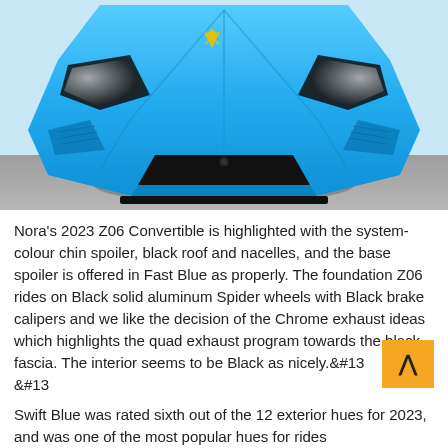[Figure (photo): Front aerial view of a bright blue 2023 Corvette Z06 Convertible photographed from above, showing the hood, Corvette logo, headlights, and front fascia with splitter. The car is on a grey pavement surface.]
Nora's 2023 Z06 Convertible is highlighted with the system-colour chin spoiler, black roof and nacelles, and the base spoiler is offered in Fast Blue as properly. The foundation Z06 rides on Black solid aluminum Spider wheels with Black brake calipers and we like the decision of the Chrome exhaust ideas which highlights the quad exhaust program towards the black fascia. The interior seems to be Black as nicely.&#13
&#13
Swift Blue was rated sixth out of the 12 exterior hues for 2023, and was one of the most popular hues for rides...